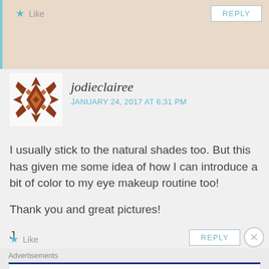[Figure (other): Top portion of a blog comment section with beige/tan background, a Like button with star icon and a REPLY button]
jodieclairee
JANUARY 24, 2017 AT 6:31 PM
I usually stick to the natural shades too. But this has given me some idea of how I can introduce a bit of color to my eye makeup routine too!

Thank you and great pictures!

J
Like
REPLY
Advertisements
The Platform Where WordPress Works Best
Pressable